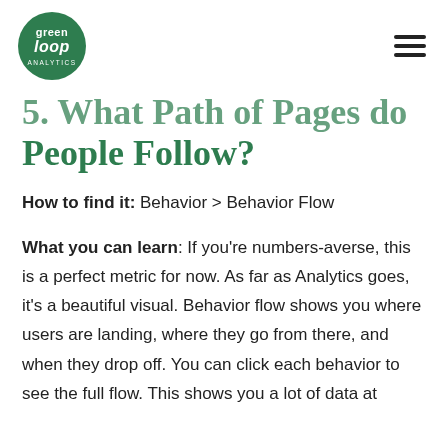Green Loop logo and hamburger menu
5. What Path of Pages do People Follow?
How to find it: Behavior > Behavior Flow
What you can learn: If you're numbers-averse, this is a perfect metric for now. As far as Analytics goes, it's a beautiful visual. Behavior flow shows you where users are landing, where they go from there, and when they drop off. You can click each behavior to see the full flow. This shows you a lot of data at